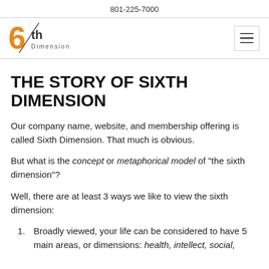801-225-7000
[Figure (logo): 6th Dimension logo with orange stylized numeral 6 and diagonal slash, text 'th Dimension' beside it]
THE STORY OF SIXTH DIMENSION
Our company name, website, and membership offering is called Sixth Dimension. That much is obvious.
But what is the concept or metaphorical model of "the sixth dimension"?
Well, there are at least 3 ways we like to view the sixth dimension:
Broadly viewed, your life can be considered to have 5 main areas, or dimensions: health, intellect, social,